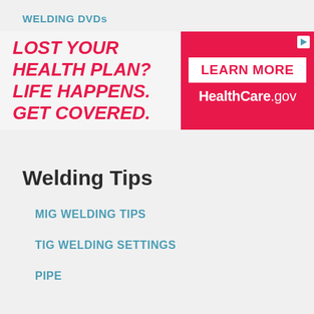WELDING DVDs
[Figure (infographic): Advertisement banner: 'LOST YOUR HEALTH PLAN? LIFE HAPPENS. GET COVERED.' on left with pink/light background, and 'LEARN MORE HealthCare.gov' on right with pink/magenta background]
Welding Tips
MIG WELDING TIPS
TIG WELDING SETTINGS
PIPE